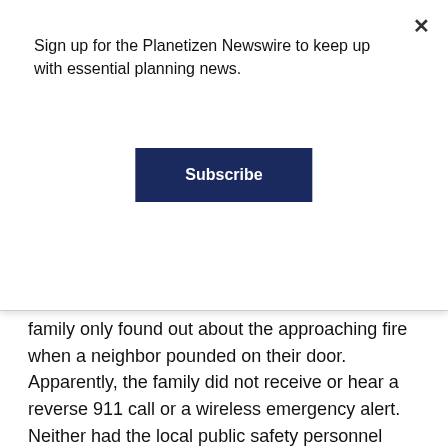Sign up for the Planetizen Newswire to keep up with essential planning news.
Subscribe
family only found out about the approaching fire when a neighbor pounded on their door. Apparently, the family did not receive or hear a reverse 911 call or a wireless emergency alert. Neither had the local public safety personnel driven by to announce evacuate orders. Second, once on the road, the family chose their usual way out of the area, only to be stopped by a wall of flames. Luckily a fire crew was there to direct them to a less traveled, and less familiar route.
In a future that includes autonomous vehicles (AVs), could some of these failures been avoided? Imagine this scenario: As described in the example in Northern California...